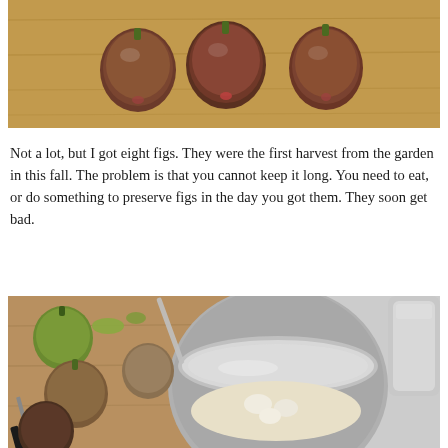[Figure (photo): Overhead photo of several ripe dark purple/brown figs on a wooden cutting board surface]
Not a lot, but I got eight figs. They were the first harvest from the garden in this fall. The problem is that you cannot keep it long. You need to eat, or do something to preserve figs in the day you got them. They soon get bad.
[Figure (photo): Kitchen preparation scene with green and brown figs on a wooden cutting board next to a stainless steel pot containing sugar or flour and garlic cloves, with a knife visible]